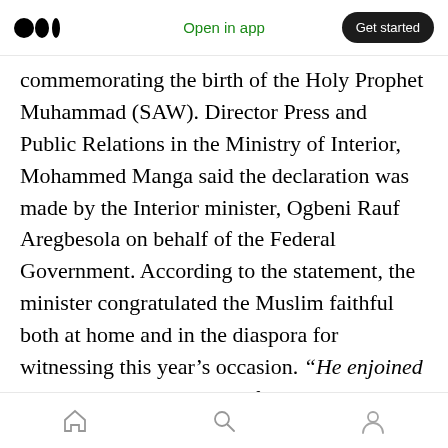Open in app | Get started
commemorating the birth of the Holy Prophet Muhammad (SAW). Director Press and Public Relations in the Ministry of Interior, Mohammed Manga said the declaration was made by the Interior minister, Ogbeni Rauf Aregbesola on behalf of the Federal Government. According to the statement, the minister congratulated the Muslim faithful both at home and in the diaspora for witnessing this year's occasion. “He enjoined them to imbibe the spirit of love, patience and perseverance which are the virtues of the Holy Prophet Muhammad (peace be upon him), adding
Home | Search | Profile